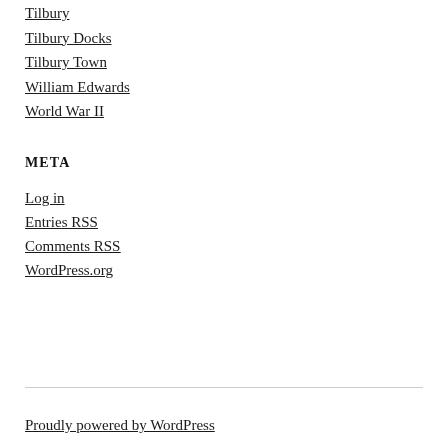Tilbury
Tilbury Docks
Tilbury Town
William Edwards
World War II
META
Log in
Entries RSS
Comments RSS
WordPress.org
Proudly powered by WordPress